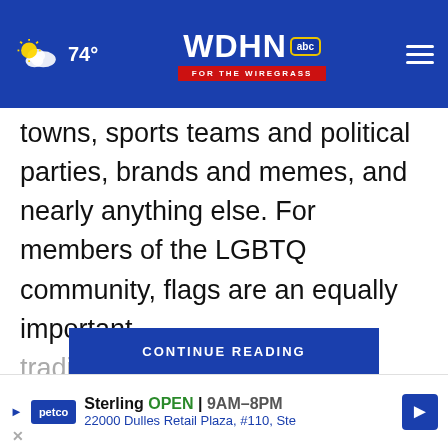74° WDHN ABC FOR THE WIREGRASS
towns, sports teams and political parties, brands and memes, and nearly anything else. For members of the LGBTQ community, flags are an equally important tradition.
CONTINUE READING
"There are a variety of…that
[Figure (photo): Mr. Mattress Superstore advertisement banner showing logo, a child, a salesperson, and mattress brands including Serta. Text: BEST SELECTION, BEST PRICES GUARANTEED, www.mrmattressoutletstore.com]
[Figure (photo): Petco advertisement bar with store info: Sterling OPEN 9AM-8PM, 22000 Dulles Retail Plaza, #110, Ste]